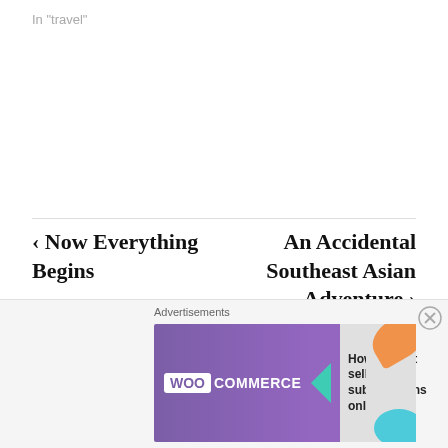In "travel"
‹ Now Everything Begins
An Accidental Southeast Asian Adventure ›
2 thoughts on “Five Things
Il...
[Figure (other): WooCommerce advertisement banner: purple background with WooCommerce logo, teal arrow, and text 'How to start selling subscriptions online']